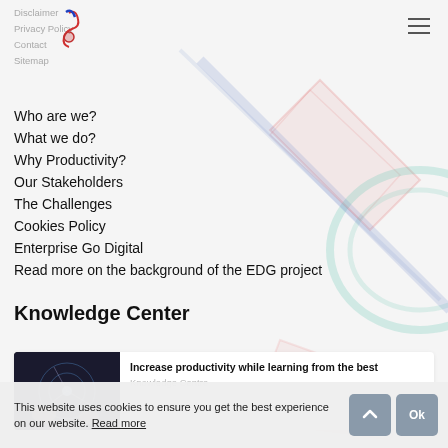Disclaimer
Privacy Policy
Contact
Sitemap
Who are we?
What we do?
Why Productivity?
Our Stakeholders
The Challenges
Cookies Policy
Enterprise Go Digital
Read more on the background of the EDG project
Knowledge Center
[Figure (illustration): Decorative background with colorful geometric shapes]
[Figure (photo): Thumbnail image for article card, dark background with hands/technology motif]
Increase productivity while learning from the best
Knowledge Centre
This website uses cookies to ensure you get the best experience on our website. Read more